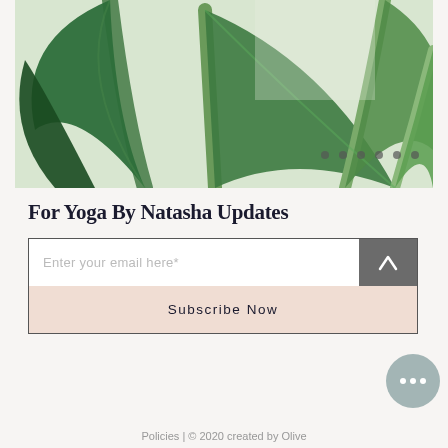[Figure (photo): Close-up photo of large tropical green plant leaves (bird of paradise or similar) on a light background, with stems and a small white tag visible]
For Yoga By Natasha Updates
Enter your email here*
Subscribe Now
Policies | © 2020 created by Olive